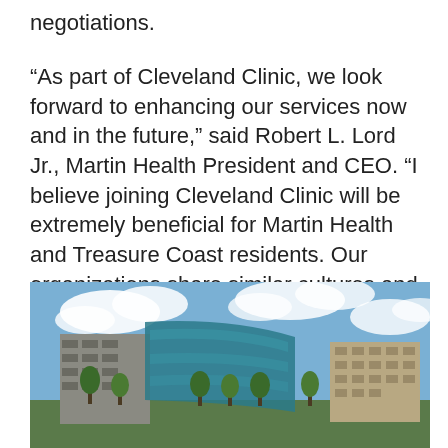negotiations.
“As part of Cleveland Clinic, we look forward to enhancing our services now and in the future,” said Robert L. Lord Jr., Martin Health President and CEO. “I believe joining Cleveland Clinic will be extremely beneficial for Martin Health and Treasure Coast residents. Our organizations share similar cultures and a mission to provide exceptional care to the communities we serve.”
[Figure (photo): Exterior photo of a modern hospital building with glass curved facade and trees in the foreground under a partly cloudy sky]